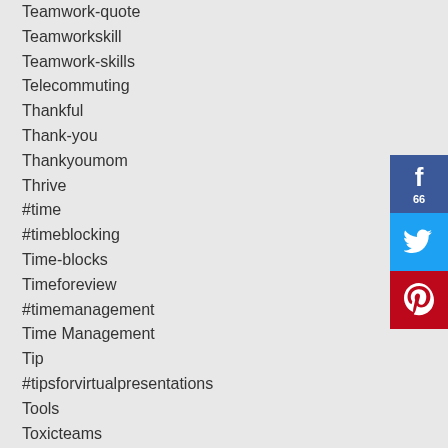Teamwork-quote
Teamworkskill
Teamwork-skills
Telecommuting
Thankful
Thank-you
Thankyoumom
Thrive
#time
#timeblocking
Time-blocks
Timeforeview
#timemanagement
Time Management
Tip
#tipsforvirtualpresentations
Tools
Toxicteams
Tracking